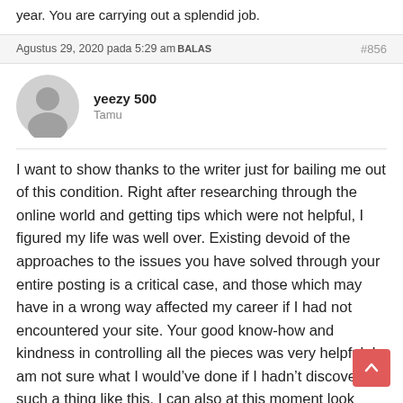year. You are carrying out a splendid job.
Agustus 29, 2020 pada 5:29 amBALAS   #856
yeezy 500
Tamu
I want to show thanks to the writer just for bailing me out of this condition. Right after researching through the online world and getting tips which were not helpful, I figured my life was well over. Existing devoid of the approaches to the issues you have solved through your entire posting is a critical case, and those which may have in a wrong way affected my career if I had not encountered your site. Your good know-how and kindness in controlling all the pieces was very helpful. I am not sure what I would've done if I hadn't discovered such a thing like this. I can also at this moment look ahead to my future. The d...